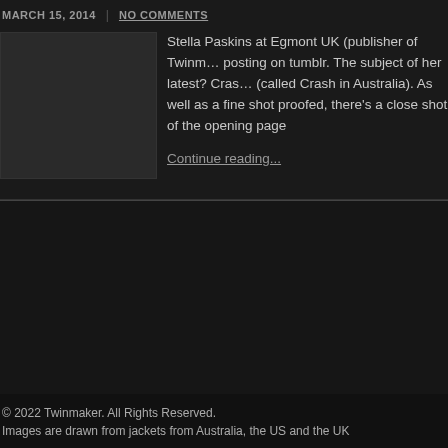MARCH 15, 2014  |  NO COMMENTS
[Figure (photo): Dark thumbnail image, mostly black/dark grey, appears to be a book cover or related image]
Stella Paskins at Egmont UK (publisher of Twinmaker) is posting on tumblr. The subject of her latest? Crash (called Crash in Australia). As well as a fine shot of the proofed, there's a close shot of the opening page
Continue reading...
© 2022 Twinmaker. All Rights Reserved.
Images are drawn from jackets from Australia, the US and the UK